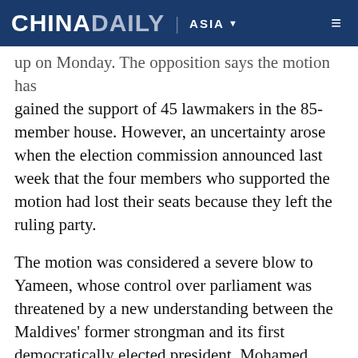CHINA DAILY | ASIA
up on Monday. The opposition says the motion has gained the support of 45 lawmakers in the 85-member house. However, an uncertainty arose when the election commission announced last week that the four members who supported the motion had lost their seats because they left the ruling party.
The motion was considered a severe blow to Yameen, whose control over parliament was threatened by a new understanding between the Maldives' former strongman and its first democratically elected president, Mohamed Nasheed. The Maldivian Democratic Party routed Yameen's party in local council elections earlier this year.
A similar opposition bid to oust the speaker was thwarted in March when the government defeated it